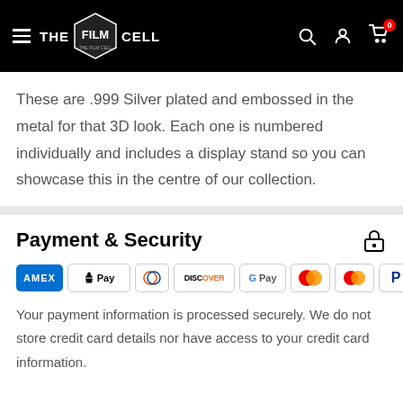THE FILM CELL — navigation header
These are .999 Silver plated and embossed in the metal for that 3D look. Each one is numbered individually and includes a display stand so you can showcase this in the centre of our collection.
Payment & Security
[Figure (other): Payment method icons: American Express, Apple Pay, Diners Club, Discover, Google Pay, Maestro, Mastercard, PayPal, Visa]
Your payment information is processed securely. We do not store credit card details nor have access to your credit card information.